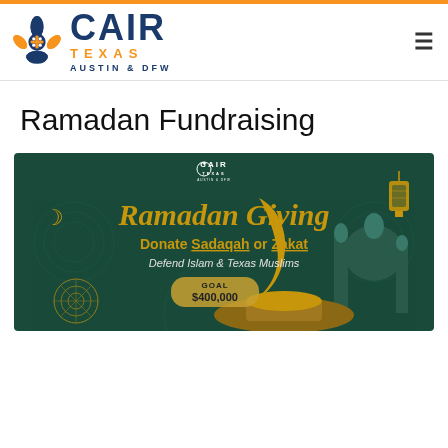CAIR Texas Austin & DFW
Ramadan Fundraising
[Figure (infographic): CAIR Texas Ramadan Giving banner. Dark green background with decorative Islamic geometric patterns. Text: 'Ramadan Giving – Donate Sadaqah or Zakat – Defend Islam & Texas Muslims – GOAL $400,000'. Gold crescent moon, mosque silhouette, and lanterns as decorative elements.]